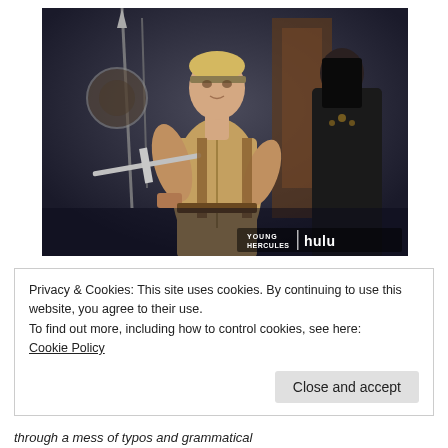[Figure (screenshot): A still from the TV show 'Young Hercules' streaming on Hulu, showing a young blond man in ancient Greek warrior garb holding a sword, with a dark-haired figure behind him. The 'YOUNG HERCULES | hulu' logo appears in the bottom right corner of the image.]
Privacy & Cookies: This site uses cookies. By continuing to use this website, you agree to their use.
To find out more, including how to control cookies, see here:
Cookie Policy
Close and accept
through a mess of typos and grammatical